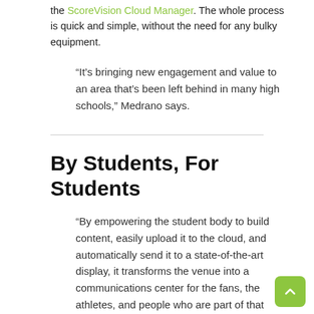the ScoreVision Cloud Manager. The whole process is quick and simple, without the need for any bulky equipment.
“It’s bringing new engagement and value to an area that’s been left behind in many high schools,” Medrano says.
By Students, For Students
“By empowering the student body to build content, easily upload it to the cloud, and automatically send it to a state-of-the-art display, it transforms the venue into a communications center for the fans, the athletes, and people who are part of that school.”